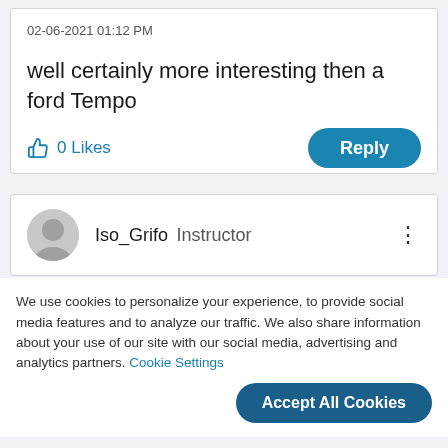02-06-2021 01:12 PM
well certainly more interesting then a ford Tempo
0 Likes
Reply
Iso_Grifo  Instructor
We use cookies to personalize your experience, to provide social media features and to analyze our traffic. We also share information about your use of our site with our social media, advertising and analytics partners. Cookie Settings
Accept All Cookies